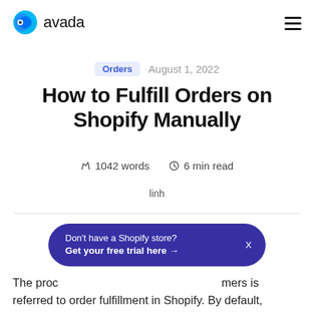avada
Orders  August 1, 2022
How to Fulfill Orders on Shopify Manually
1042 words  6 min read
linh
Don't have a Shopify store? Get your free trial here →  X
The process of delivering orders to customers is referred to order fulfillment in Shopify. By default,